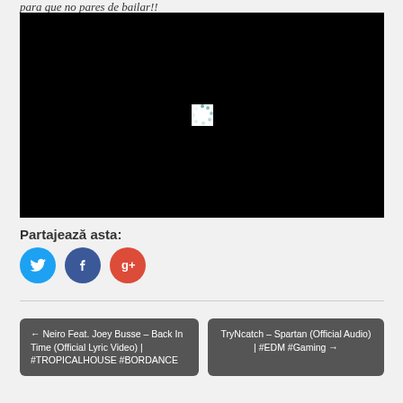para que no pares de bailar!!
[Figure (screenshot): Embedded video player with black background and loading spinner in the center]
Partajează asta:
[Figure (other): Social share buttons: Twitter (blue circle), Facebook (dark blue circle), Google+ (red circle)]
← Neiro Feat. Joey Busse – Back In Time (Official Lyric Video) | #TROPICALHOUSE #BORDANCE
TryNcatch – Spartan (Official Audio) | #EDM #Gaming →